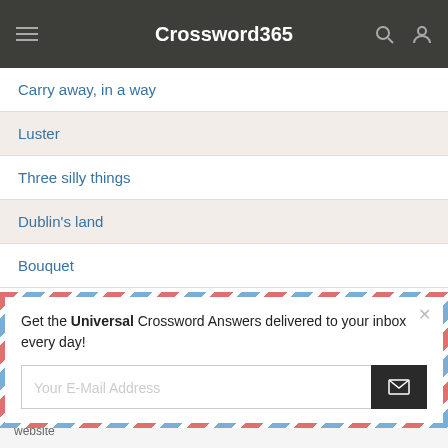Crossword365
Carry away, in a way
Luster
Three silly things
Dublin's land
Bouquet
Get the Universal Crossword Answers delivered to your inbox every day!
Your E-Mail Address
This website uses cookies to ensure you get the best experience on our website